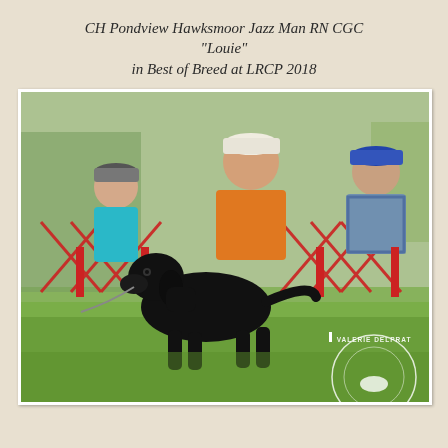CH Pondview Hawksmoor Jazz Man RN CGC "Louie" in Best of Breed at LRCP 2018
[Figure (photo): Black Labrador Retriever dog standing on green grass at a dog show, looking upward alertly. In the background, three spectators sit in folding chairs behind a red lattice fence. A Valerie Delprat Photography watermark is visible in the lower right corner.]